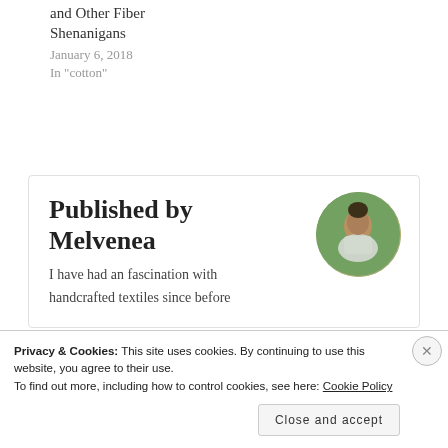and Other Fiber Shenanigans
January 6, 2018
In "cotton"
Published by Melvenea
I have had an fascination with handcrafted textiles since before
[Figure (photo): Circular avatar photo of Melvenea, a woman in a white top standing outdoors with green trees in the background]
Privacy & Cookies: This site uses cookies. By continuing to use this website, you agree to their use.
To find out more, including how to control cookies, see here: Cookie Policy
Close and accept